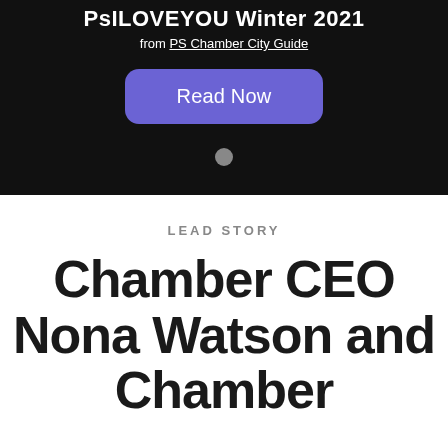[Figure (screenshot): Dark background promotional banner for PsILOVEYOU Winter 2021 from PS Chamber City Guide with a purple 'Read Now' button and a gray dot indicator below it.]
LEAD STORY
Chamber CEO Nona Watson and Chamber